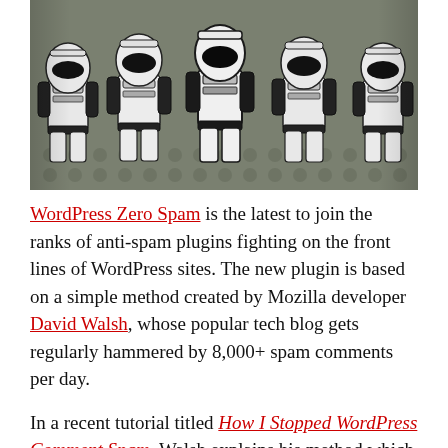[Figure (photo): Photograph of five LEGO Stormtrooper minifigures standing in a row on a grey LEGO base, white and black armor, close-up shot]
WordPress Zero Spam is the latest to join the ranks of anti-spam plugins fighting on the front lines of WordPress sites. The new plugin is based on a simple method created by Mozilla developer David Walsh, whose popular tech blog gets regularly hammered by 8,000+ spam comments per day.
In a recent tutorial titled How I Stopped WordPress Comment Spam, Walsh explains his method which essentially relies on inserting a key client-side via JavaScript on form submission. He then adds a